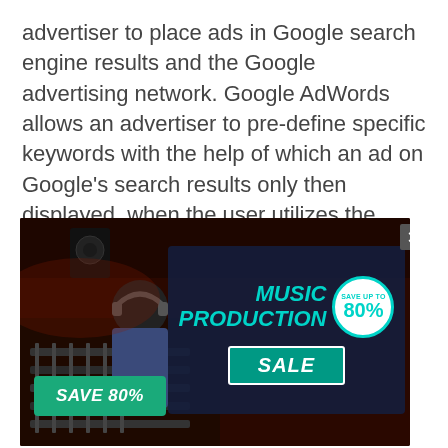advertiser to place ads in Google search engine results and the Google advertising network. Google AdWords allows an advertiser to pre-define specific keywords with the help of which an ad on Google's search results only then displayed, when the user utilizes the search
[Figure (other): Advertisement overlay on a music studio photo showing a person at a mixing board wearing headphones. The ad promotes a 'Music Production Sale' with 'Save up to 80%' in a circular badge, a dark blue panel with teal 'MUSIC PRODUCTION' text, a teal 'SALE' button, and a green 'SAVE 80%' button on the lower left. An X close button is at the top right.]